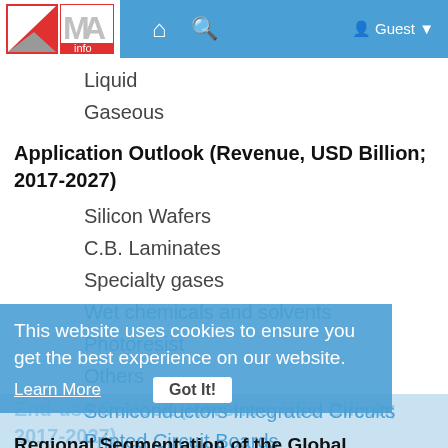MXA Info — navigation bar with logo, home, search, Guest
Liquid
Gaseous
Application Outlook (Revenue, USD Billion; 2017-2027)
Silicon Wafers
C.B. Laminates
Specialty gases
Wet chemicals and solvents
Photoresist
Others
End-use Outlook (Revenue, USD Billion; 2017-2027)
This website uses cookies to ensure you get the best experience on our website.
Learn More
Got It!
Semiconductors Integrated Circuits
Printed Circuit Boards
Regional Segmentation of the Global